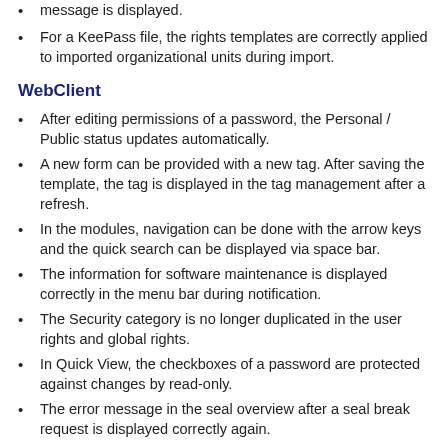message is displayed.
For a KeePass file, the rights templates are correctly applied to imported organizational units during import.
WebClient
After editing permissions of a password, the Personal / Public status updates automatically.
A new form can be provided with a new tag. After saving the template, the tag is displayed in the tag management after a refresh.
In the modules, navigation can be done with the arrow keys and the quick search can be displayed via space bar.
The information for software maintenance is displayed correctly in the menu bar during notification.
The Security category is no longer duplicated in the user rights and global rights.
In Quick View, the checkboxes of a password are protected against changes by read-only.
The error message in the seal overview after a seal break request is displayed correctly again.